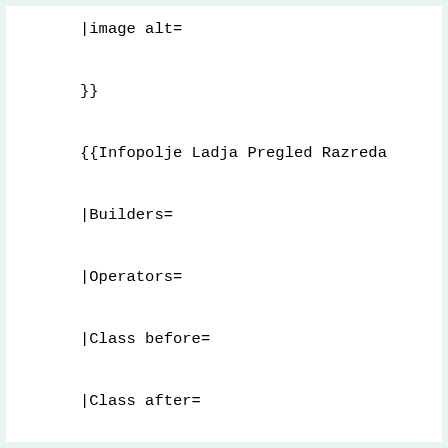|image alt=

}}

{{Infopolje Ladja Pregled Razreda

|Builders=

|Operators=

|Class before=

|Class after=

|Subclasses=

|Built range=